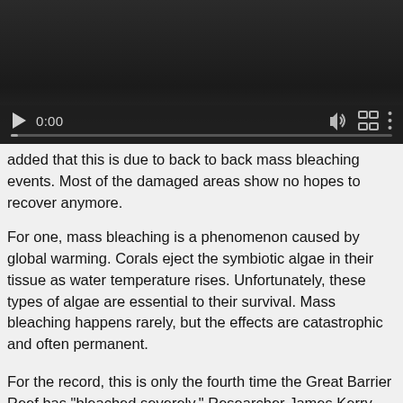[Figure (screenshot): Embedded video player with dark background, play button, time display '0:00', volume icon, fullscreen icon, and more options icon. Progress bar shown at bottom of player.]
added that this is due to back to back mass bleaching events. Most of the damaged areas show no hopes to recover anymore.
For one, mass bleaching is a phenomenon caused by global warming. Corals eject the symbiotic algae in their tissue as water temperature rises. Unfortunately, these types of algae are essential to their survival. Mass bleaching happens rarely, but the effects are catastrophic and often permanent.
For the record, this is only the fourth time the Great Barrier Reef has "bleached severely." Researcher James Kerry from